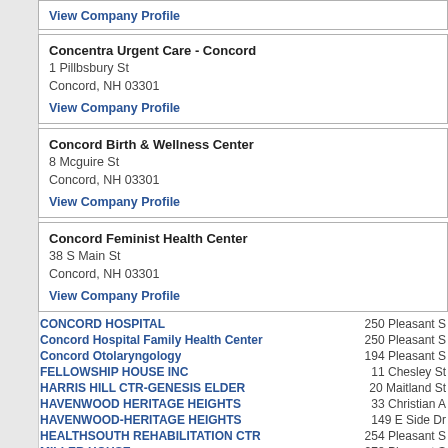View Company Profile
Concentra Urgent Care - Concord
1 Pillbsbury St
Concord, NH 03301
View Company Profile
Concord Birth & Wellness Center
8 Mcguire St
Concord, NH 03301
View Company Profile
Concord Feminist Health Center
38 S Main St
Concord, NH 03301
View Company Profile
CONCORD HOSPITAL — 250 Pleasant S
Concord Hospital Family Health Center — 250 Pleasant S
Concord Otolaryngology — 194 Pleasant S
FELLOWSHIP HOUSE INC — 11 Chesley St
HARRIS HILL CTR-GENESIS ELDER — 20 Maitland St
HAVENWOOD HERITAGE HEIGHTS — 33 Christian A
HAVENWOOD-HERITAGE HEIGHTS — 149 E Side Dr
HEALTHSOUTH REHABILITATION CTR — 254 Pleasant S
MILLER HOUSE — 278 Pleasant S
NEW HAMPSHIRE HOSPITAL — 36 Clinton St,